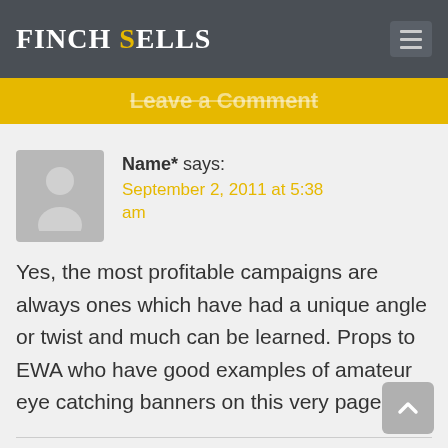Finch Sells
Leave a Comment
Name* says: September 2, 2011 at 5:38 am
Yes, the most profitable campaigns are always ones which have had a unique angle or twist and much can be learned. Props to EWA who have good examples of amateur eye catching banners on this very page.
Darren says: September 5, 2011 at 6:20